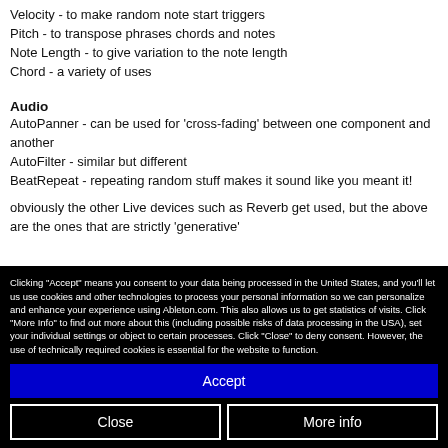Velocity - to make random note start triggers
Pitch - to transpose phrases chords and notes
Note Length - to give variation to the note length
Chord - a variety of uses
Audio
AutoPanner - can be used for 'cross-fading' between one component and another
AutoFilter - similar but different
BeatRepeat - repeating random stuff makes it sound like you meant it!
obviously the other Live devices such as Reverb get used, but the above are the ones that are strictly 'generative'
Clicking "Accept" means you consent to your data being processed in the United States, and you'll let us use cookies and other technologies to process your personal information so we can personalize and enhance your experience using Ableton.com. This also allows us to get statistics of visits. Click "More Info" to find out more about this (including possible risks of data processing in the USA), set your individual settings or object to certain processes. Click "Close" to deny consent. However, the use of technically required cookies is essential for the website to function.
Accept
Close
More info